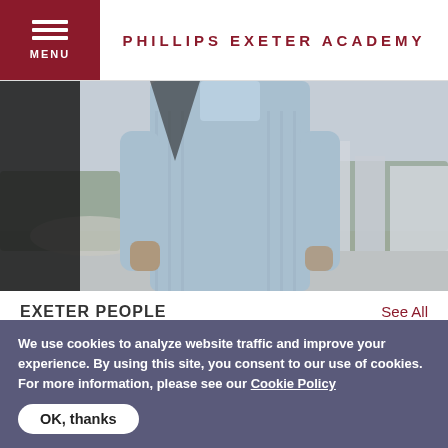PHILLIPS EXETER ACADEMY
[Figure (photo): A person in a light blue shirt standing outdoors in front of city skyline buildings, photographed from mid-torso]
EXETER PEOPLE
See All
"If you can’t pay legal fees, you don’t have the same rights as everyone else."
We use cookies to analyze website traffic and improve your experience. By using this site, you consent to our use of cookies. For more information, please see our Cookie Policy
OK, thanks